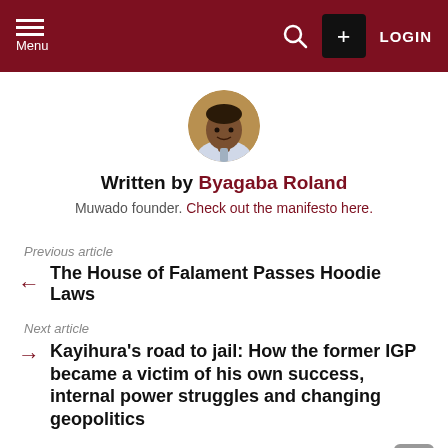Menu | Search | + | LOGIN
[Figure (photo): Circular author avatar photo of Byagaba Roland]
Written by Byagaba Roland
Muwado founder. Check out the manifesto here.
Previous article
The House of Falament Passes Hoodie Laws
Next article
Kayihura's road to jail: How the former IGP became a victim of his own success, internal power struggles and changing geopolitics
ONE COMMENT